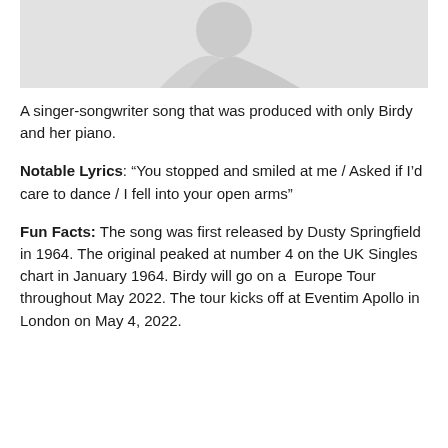[Figure (photo): Faded/light photograph of a person, shown partially at top of page]
A singer-songwriter song that was produced with only Birdy and her piano.
Notable Lyrics: “You stopped and smiled at me / Asked if I’d care to dance / I fell into your open arms”
Fun Facts: The song was first released by Dusty Springfield in 1964. The original peaked at number 4 on the UK Singles chart in January 1964. Birdy will go on a  Europe Tour throughout May 2022. The tour kicks off at Eventim Apollo in London on May 4, 2022.